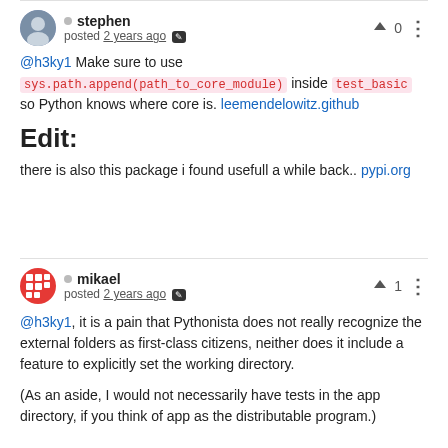stephen posted 2 years ago
@h3ky1 Make sure to use sys.path.append(path_to_core_module) inside test_basic so Python knows where core is. leemendelowitz.github
Edit:
there is also this package i found usefull a while back.. pypi.org
mikael posted 2 years ago
@h3ky1, it is a pain that Pythonista does not really recognize the external folders as first-class citizens, neither does it include a feature to explicitly set the working directory.
(As an aside, I would not necessarily have tests in the app directory, if you think of app as the distributable program.)